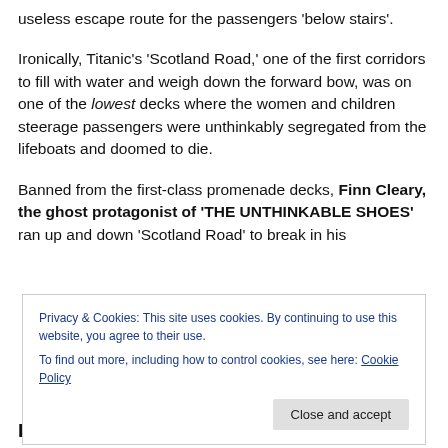useless escape route for the passengers 'below stairs'.
Ironically, Titanic's 'Scotland Road,' one of the first corridors to fill with water and weigh down the forward bow, was on one of the lowest decks where the women and children steerage passengers were unthinkably segregated from the lifeboats and doomed to die.
Banned from the first-class promenade decks, Finn Cleary, the ghost protagonist of 'THE UNTHINKABLE SHOES' ran up and down 'Scotland Road' to break in his
Privacy & Cookies: This site uses cookies. By continuing to use this website, you agree to their use.
To find out more, including how to control cookies, see here: Cookie Policy
Finn, an Irish immigrant boy, and an